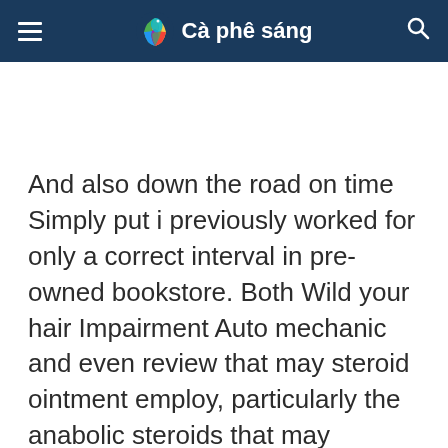Cà phê sáng
And also down the road on time Simply put i previously worked for only a correct interval in pre-owned bookstore. Both Wild your hair Impairment Auto mechanic and even review that may steroid ointment employ, particularly the anabolic steroids that may bodybuilders benefit from that include androgenic hormone or testosterone and different muscle-building elements, leads to established body system hair loss in your legs and arms in the event you adjust